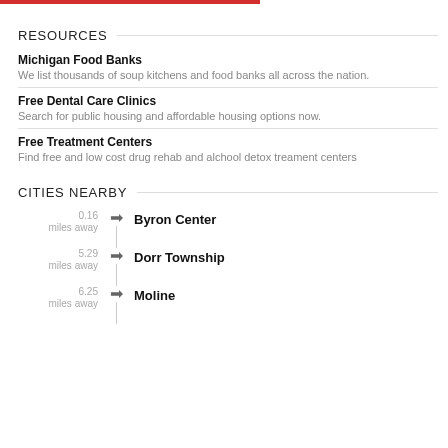RESOURCES
Michigan Food Banks
We list thousands of soup kitchens and food banks all across the nation.
Free Dental Care Clinics
Search for public housing and affordable housing options now.
Free Treatment Centers
Find free and low cost drug rehab and alchool detox treament centers
CITIES NEARBY
0.16 miles away — Byron Center
5.29 miles away — Dorr Township
6.25 miles away — Moline